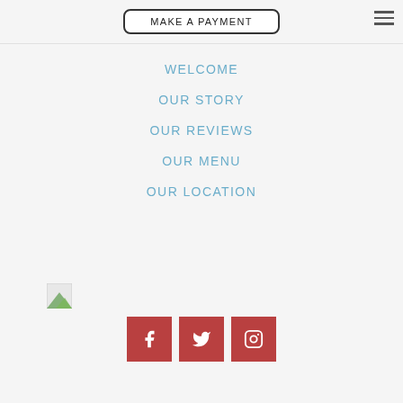MAKE A PAYMENT
WELCOME
OUR STORY
OUR REVIEWS
OUR MENU
OUR LOCATION
[Figure (logo): Small logo image thumbnail]
[Figure (infographic): Three red square social media buttons: Facebook (f), Twitter (bird), Instagram (camera outline)]